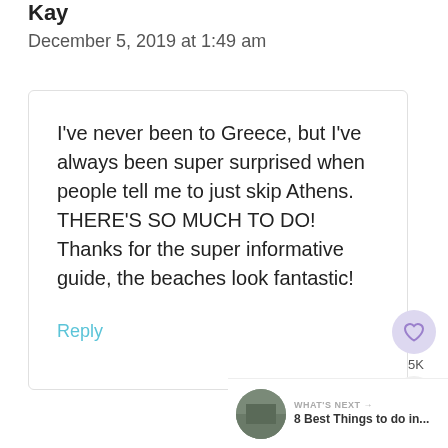Kay
December 5, 2019 at 1:49 am
I've never been to Greece, but I've always been super surprised when people tell me to just skip Athens. THERE'S SO MUCH TO DO! Thanks for the super informative guide, the beaches look fantastic!
Reply
5K
WHAT'S NEXT → 8 Best Things to do in...